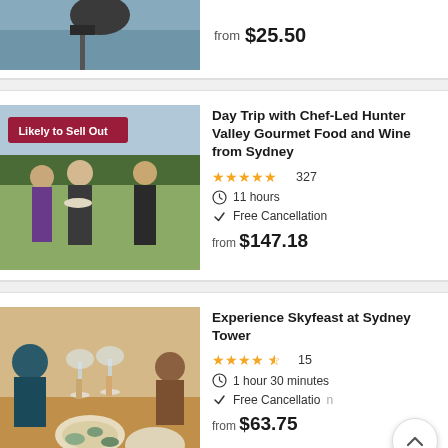[Figure (photo): Partial view of a person on a boat/dock, top of listing card]
from $25.50
[Figure (photo): Group of people at a winery tasting event, chef in apron holding plates, with badge 'Likely to Sell Out']
Day Trip with Chef-Led Hunter Valley Gourmet Food and Wine from Sydney
★★★★★ 327
11 hours
Free Cancellation
from $147.18
[Figure (photo): People dining at Sydney Tower restaurant, clinking wine glasses, seafood spread on table]
Experience Skyfeast at Sydney Tower
★★★★½ 15
1 hour 30 minutes
Free Cancellation
from $63.75